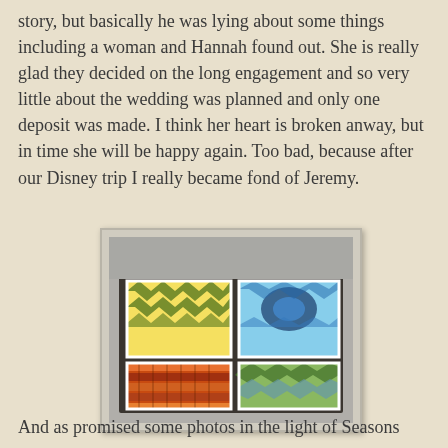story, but basically he was lying about some things including a woman and Hannah found out. She is really glad they decided on the long engagement and so very little about the wedding was planned and only one deposit was made. I think her heart is broken anway, but in time she will be happy again. Too bad, because after our Disney trip I really became fond of Jeremy.
[Figure (photo): Four patterned quilts or fabric samples laid out on a dark surface, showing colorful geometric zigzag and stripe patterns in yellow/green, blue/teal, orange/red, and green/blue color schemes.]
And as promised some photos in the light of Seasons